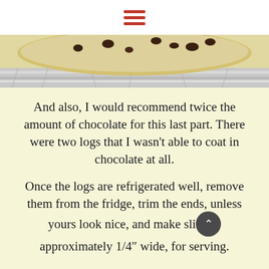☰ (hamburger menu icon)
[Figure (photo): Partial photo of a chocolate chip cookie dough log wrapped in foil, showing the top portion only, cut off at the bottom. The cookie dough is light yellow/cream colored with dark chocolate chips visible. Silver foil wrapping is visible at the bottom of the image.]
And also, I would recommend twice the amount of chocolate for this last part. There were two logs that I wasn't able to coat in chocolate at all.
Once the logs are refrigerated well, remove them from the fridge, trim the ends, unless yours look nice, and make slices approximately 1/4" wide, for serving.